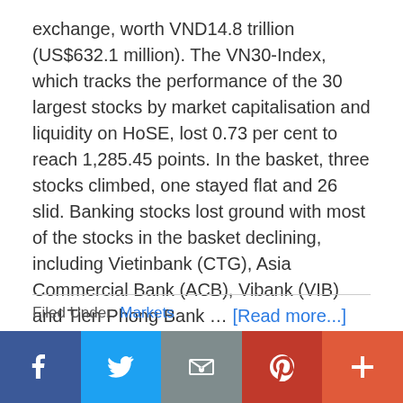exchange, worth VND14.8 trillion (US$632.1 million). The VN30-Index, which tracks the performance of the 30 largest stocks by market capitalisation and liquidity on HoSE, lost 0.73 per cent to reach 1,285.45 points. In the basket, three stocks climbed, one stayed flat and 26 slid. Banking stocks lost ground with most of the stocks in the basket declining, including Vietinbank (CTG), Asia Commercial Bank (ACB), Vibank (VIB) and Tien Phong Bank … [Read more...]
Filed Under: Markets
[Figure (infographic): Social sharing bar with five buttons: Facebook (dark blue), Twitter (light blue), Email (grey), Pinterest (red), and a plus/more button (orange-red)]